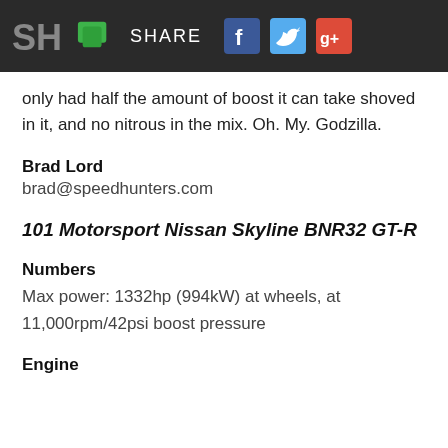[Figure (screenshot): Mobile app navigation bar with SH logo, comment icon, SHARE text, Facebook icon, Twitter icon, and Google+ icon on dark background]
only had half the amount of boost it can take shoved in it, and no nitrous in the mix. Oh. My. Godzilla.
Brad Lord
brad@speedhunters.com
101 Motorsport Nissan Skyline BNR32 GT-R
Numbers
Max power: 1332hp (994kW) at wheels, at 11,000rpm/42psi boost pressure
Engine